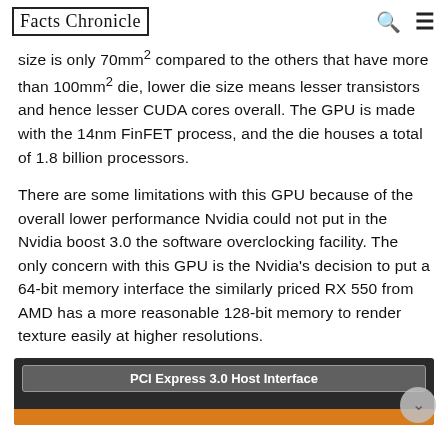Facts Chronicle
size is only 70mm² compared to the others that have more than 100mm² die, lower die size means lesser transistors and hence lesser CUDA cores overall. The GPU is made with the 14nm FinFET process, and the die houses a total of 1.8 billion processors.
There are some limitations with this GPU because of the overall lower performance Nvidia could not put in the Nvidia boost 3.0 the software overclocking facility. The only concern with this GPU is the Nvidia's decision to put a 64-bit memory interface the similarly priced RX 550 from AMD has a more reasonable 128-bit memory to render texture easily at higher resolutions.
[Figure (schematic): Partial diagram showing a dark background with a label 'PCI Express 3.0 Host Interface' in a grey bar, and an orange bar at the bottom.]